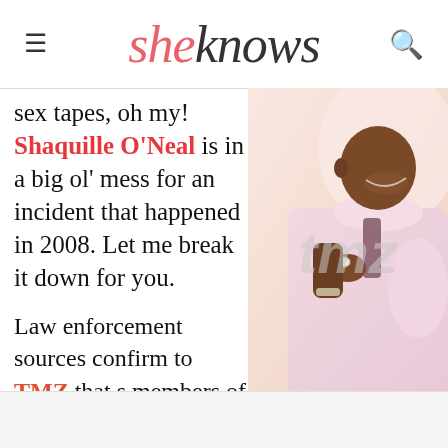sheknows
sex tapes, oh my! Shaquille O'Neal is in a big ol' mess for an incident that happened in 2008. Let me break it down for you.
[Figure (photo): Photo of Shaquille O'Neal in a pink/white outfit, with TMZ watermark overlay]
Law enforcement sources confirm to TMZ that s members of the Main Street Mafia Crip Ga who is friends with Sh that featured Shaq an wife at the time, Sha.....